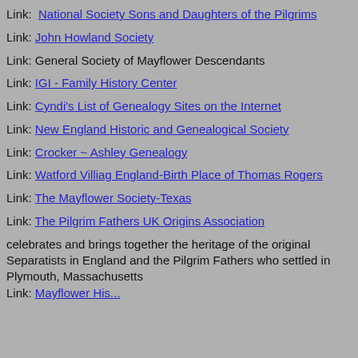Link: National Society Sons and Daughters of the Pilgrims
Link: John Howland Society
Link: General Society of Mayflower Descendants
Link: IGI - Family History Center
Link: Cyndi's List of Genealogy Sites on the Internet
Link: New England Historic and Genealogical Society
Link: Crocker ~ Ashley Genealogy
Link: Watford Villiag England-Birth Place of Thomas Rogers
Link: The Mayflower Society-Texas
Link: The Pilgrim Fathers UK Origins Association
celebrates and brings together the heritage of the original Separatists in England and the Pilgrim Fathers who settled in Plymouth, Massachusetts
Link: Mayflower History...